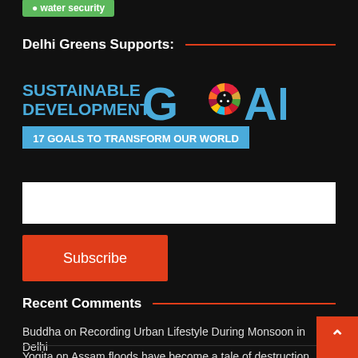water security
Delhi Greens Supports:
[Figure (logo): UN Sustainable Development Goals logo — 'SUSTAINABLE DEVELOPMENT GOALS — 17 GOALS TO TRANSFORM OUR WORLD' with colorful wheel graphic]
Subscribe
Recent Comments
Buddha on Recording Urban Lifestyle During Monsoon in Delhi
Yogita on Assam floods have become a tale of destruction